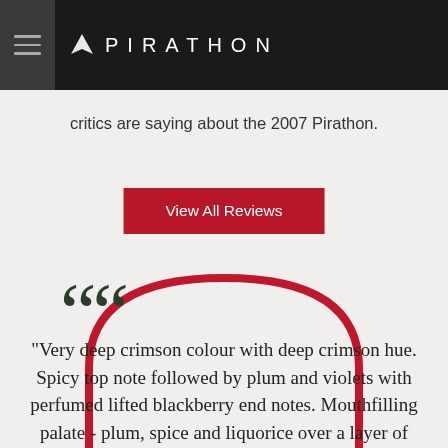PIRATHON
critics are saying about the 2007 Pirathon.
View All Reviews
“Very deep crimson colour with deep crimson hue. Spicy top note followed by plum and violets with perfumed lifted blackberry end notes. Mouthfilling palate - plum, spice and liquorice over a layer of dark chocolate - the palate flavours continue to